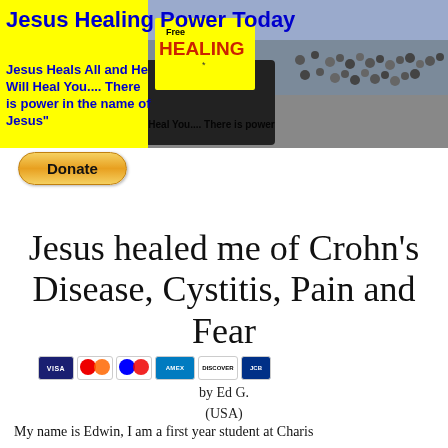[Figure (screenshot): Website banner for 'Jesus Healing Power Today' with yellow background on left side showing blue bold title text and subtitle, and a photo on right showing a crowd and a yellow 'Free Healing' sign on what appears to be a vehicle.]
[Figure (other): Donate button (gold/yellow rounded rectangle) with the word 'Donate' in bold, followed by a row of payment card logos: Visa, Mastercard, Mastercard, American Express, Discover, JCB.]
Jesus healed me of Crohn's Disease, Cystitis, Pain and Fear
by Ed G.
(USA)
My name is Edwin, I am a first year student at Charis